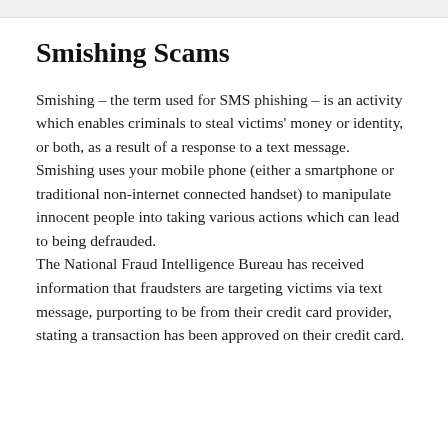Smishing Scams
Smishing – the term used for SMS phishing – is an activity which enables criminals to steal victims' money or identity, or both, as a result of a response to a text message. Smishing uses your mobile phone (either a smartphone or traditional non-internet connected handset) to manipulate innocent people into taking various actions which can lead to being defrauded.
The National Fraud Intelligence Bureau has received information that fraudsters are targeting victims via text message, purporting to be from their credit card provider, stating a transaction has been approved on their credit card.